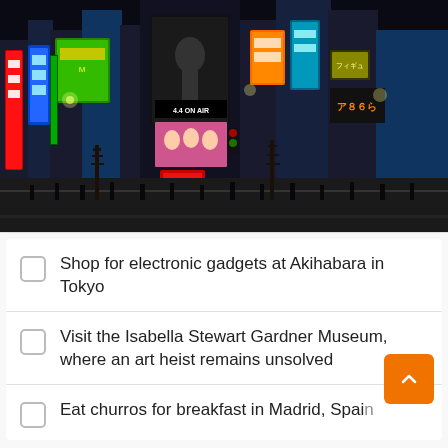[Figure (photo): Night photo of Akihabara district in Tokyo, Japan, showing brightly lit neon signs, billboards in Japanese, crowded street with pedestrians, colorful storefronts and advertisements on tall buildings.]
Shop for electronic gadgets at Akihabara in Tokyo
Visit the Isabella Stewart Gardner Museum, where an art heist remains unsolved
Eat churros for breakfast in Madrid, Spain